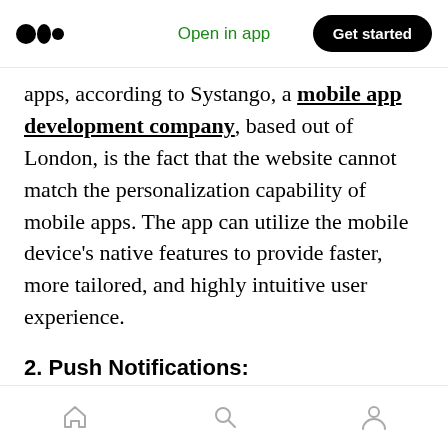Medium logo | Open in app | Get started
apps, according to Systango, a mobile app development company, based out of London, is the fact that the website cannot match the personalization capability of mobile apps. The app can utilize the mobile device's native features to provide faster, more tailored, and highly intuitive user experience.
2. Push Notifications:
Mobile apps come with the inbuilt capability of sending notifications to users who have installed the app on their mobile devices. Push
Home | Search | Profile